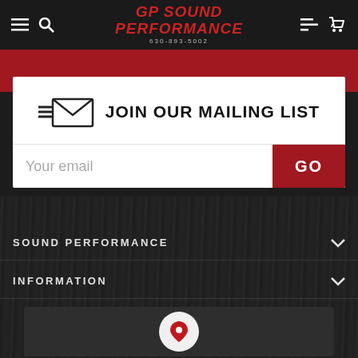GP Sound Performance — 630-893-5002
[Figure (screenshot): Red banner strip below navigation bar]
JOIN OUR MAILING LIST
Your email
GO
SOUND PERFORMANCE
INFORMATION
[Figure (map): Map area with location pin icon]